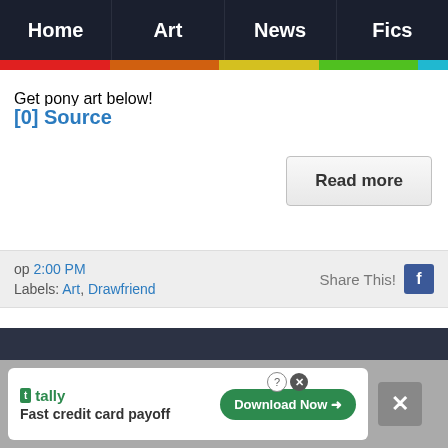Home | Art | News | Fics
Get pony art below!
[0] Source
Read more
op 2:00 PM
Labels: Art, Drawfriend
Share This!
[Figure (screenshot): Dark background section of website]
tally Fast credit card payoff Download Now